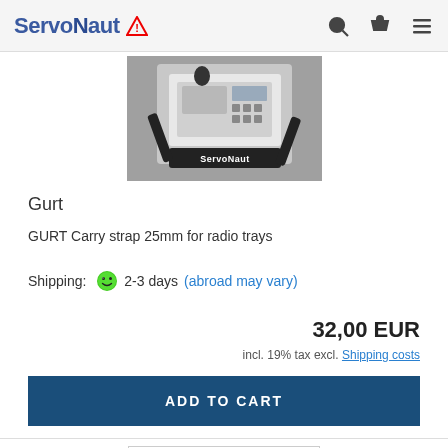ServoNaut [warning icon] [search] [basket] [menu]
[Figure (photo): Photo of a Servonaut carry strap (Gurt) with black strap and white radio tray controller on a gravel surface, branded with 'ServoNaut' logo]
Gurt
GURT Carry strap 25mm for radio trays
Shipping: 2-3 days (abroad may vary)
32,00 EUR
incl. 19% tax excl. Shipping costs
ADD TO CART